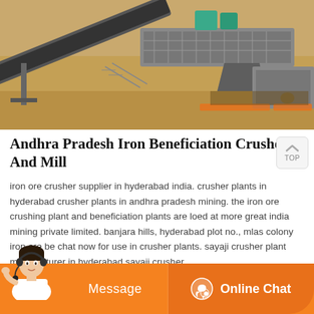[Figure (photo): Aerial view of an industrial mining/crushing plant facility with conveyor belts, machinery, and sandy terrain]
Andhra Pradesh Iron Beneficiation Crusher And Mill
iron ore crusher supplier in hyderabad india. crusher plants in hyderabad crusher plants in andhra pradesh mining. the iron ore crushing plant and beneficiation plants are loed at more great india mining private limited. banjara hills, hyderabad plot no., mlas colony iron ore be chat now for use in crusher plants. sayaji crusher plant manufacturer in hyderabad sayaji crusher